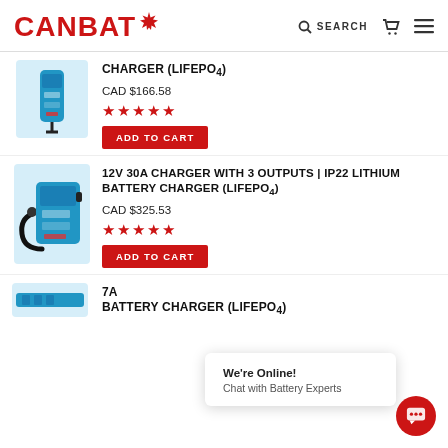[Figure (logo): CANBAT logo with red maple leaf and red text on white background, with search icon, cart icon, and hamburger menu icons]
CHARGER (LIFEPO4)
CAD $166.58
[Figure (illustration): Blue battery charger product image]
★★★★★
ADD TO CART
[Figure (illustration): Blue 30A battery charger with cable product image]
12V 30A CHARGER WITH 3 OUTPUTS | IP22 LITHIUM BATTERY CHARGER (LIFEPO4)
CAD $325.53
★★★★★
ADD TO CART
We're Online!
Chat with Battery Experts
[Figure (illustration): Partial blue battery charger product image at bottom]
7A ... BATTERY CHARGER (LIFEPO4)